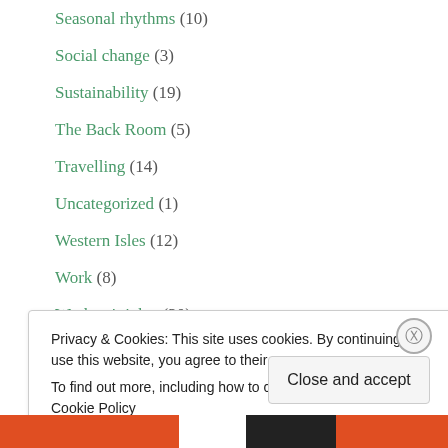Seasonal rhythms (10)
Social change (3)
Sustainability (19)
The Back Room (5)
Travelling (14)
Uncategorized (1)
Western Isles (12)
Work (8)
Workers' rights (20)
Tags
Privacy & Cookies: This site uses cookies. By continuing to use this website, you agree to their use.
To find out more, including how to control cookies, see here: Cookie Policy
Close and accept